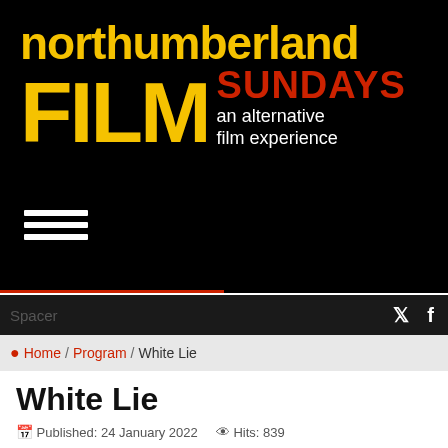[Figure (logo): Northumberland Film Sundays logo — black background, yellow bold text 'northumberland FILM', red bold 'SUNDAYS', white italic 'an alternative film experience']
Spacer
🐦 𝑓
📍 Home / Program / White Lie
White Lie
Published: 24 January 2022   Hits: 839
Sunday, 26 April 2020, 4:00 pm • Cancelled